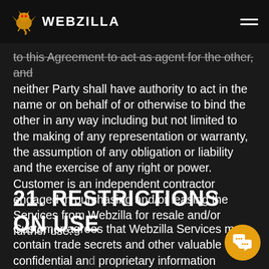WEBZILLA
to this Agreement to act as agent for the other, and neither Party shall have authority to act in the name or on behalf of or otherwise to bind the other in any way including but not limited to the making of any representation or warranty, the assumption of any obligation or liability and the exercise of any right or power. Customer is an independent contractor engaged in purchasing and/or leasing the Services from Webzilla for resale and/or further use.
21. RESTRICTIONS ON USE
Customer agrees that Webzilla Services may contain trade secrets and other valuable confidential and proprietary information belonging to Webzilla and its licensors. Customer shall not, except as expressly